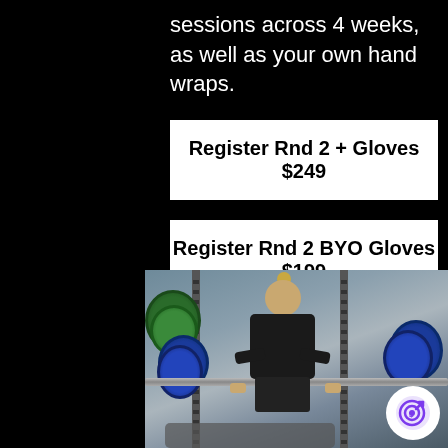sessions across 4 weeks, as well as your own hand wraps.
Register Rnd 2 + Gloves $249
Register Rnd 2 BYO Gloves $199
[Figure (photo): Person in gym performing a bench press with heavy barbell loaded with blue and green weight plates on a power rack]